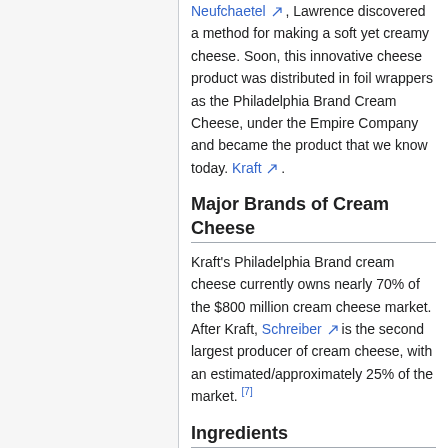Neufchaetel, Lawrence discovered a method for making a soft yet creamy cheese. Soon, this innovative cheese product was distributed in foil wrappers as the Philadelphia Brand Cream Cheese, under the Empire Company and became the product that we know today. Kraft.
Major Brands of Cream Cheese
Kraft's Philadelphia Brand cream cheese currently owns nearly 70% of the $800 million cream cheese market. After Kraft, Schreiber is the second largest producer of cream cheese, with an estimated/approximately 25% of the market. [7]
Ingredients